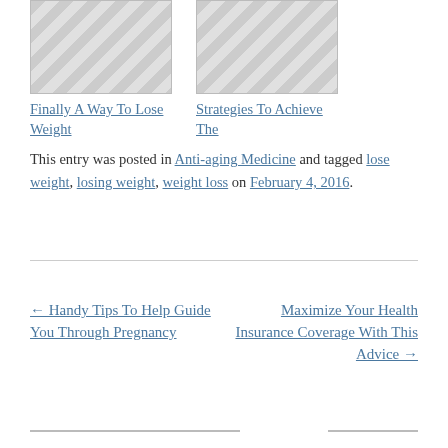[Figure (illustration): Gray hatched placeholder image for blog post card]
Finally A Way To Lose Weight
[Figure (illustration): Gray hatched placeholder image for blog post card]
Strategies To Achieve The
This entry was posted in Anti-aging Medicine and tagged lose weight, losing weight, weight loss on February 4, 2016.
← Handy Tips To Help Guide You Through Pregnancy
Maximize Your Health Insurance Coverage With This Advice →